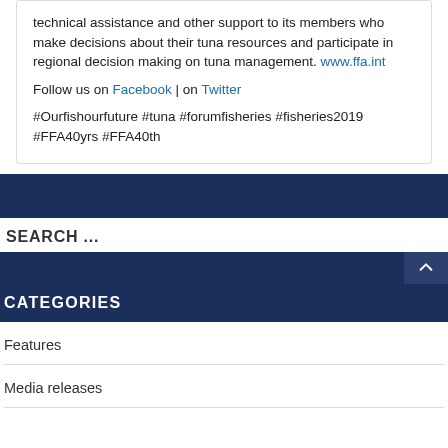technical assistance and other support to its members who make decisions about their tuna resources and participate in regional decision making on tuna management. www.ffa.int
Follow us on Facebook | on Twitter
#Ourfishourfuture #tuna #forumfisheries #fisheries2019 #FFA40yrs #FFA40th
SEARCH ...
CATEGORIES
Features
Media releases